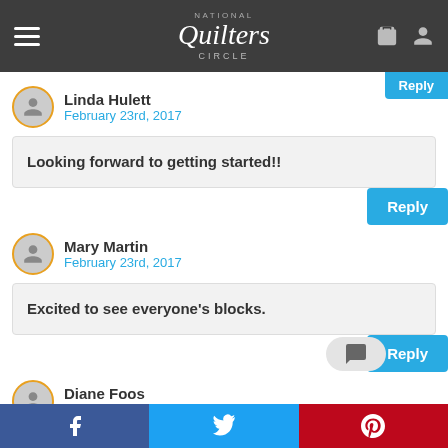National Quilters Circle
Linda Hulett
February 23rd, 2017
Looking forward to getting started!!
Mary Martin
February 23rd, 2017
Excited to see everyone's blocks.
Diane Foos
February 23rd, 2017